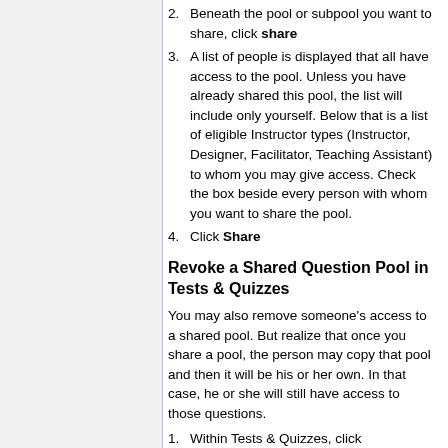2. Beneath the pool or subpool you want to share, click share
3. A list of people is displayed that all have access to the pool. Unless you have already shared this pool, the list will include only yourself. Below that is a list of eligible Instructor types (Instructor, Designer, Facilitator, Teaching Assistant) to whom you may give access. Check the box beside every person with whom you want to share the pool.
4. Click Share
Revoke a Shared Question Pool in Tests & Quizzes
You may also remove someone’s access to a shared pool. But realize that once you share a pool, the person may copy that pool and then it will be his or her own. In that case, he or she will still have access to those questions.
1. Within Tests & Quizzes, click